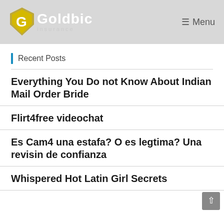[Figure (logo): Goldbic Insurance logo with gold shield/G icon and white text]
≡ Menu
Recent Posts
Everything You Do not Know About Indian Mail Order Bride
Flirt4free videochat
Es Cam4 una estafa? O es legtima? Una revisin de confianza
Whispered Hot Latin Girl Secrets